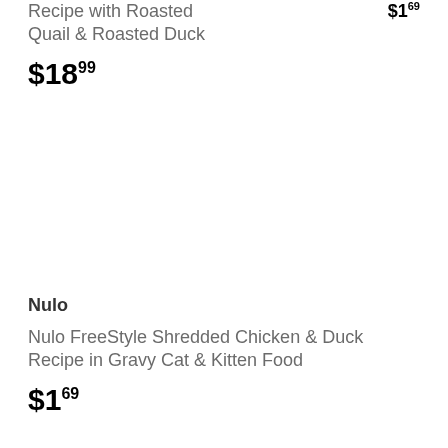Recipe with Roasted Quail & Roasted Duck
$1.69
$18.99
Nulo
Nulo FreeStyle Shredded Chicken & Duck Recipe in Gravy Cat & Kitten Food
$1.69